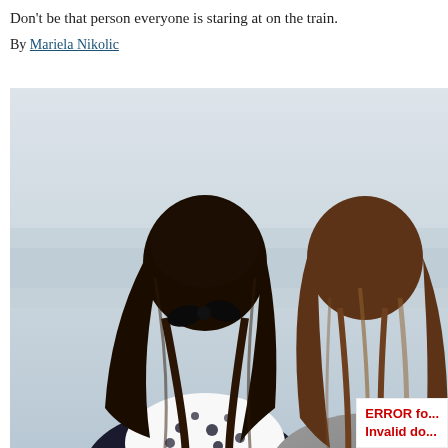Don't be that person everyone is staring at on the train.
By Mariela Nikolic
[Figure (photo): Two young women seen from behind with long hair, one with dark hair in a half-up style with a bow, the other with brown hair, both looking away toward a misty background. One wears a black and white patterned top.]
ERROR fo... Invalid do...